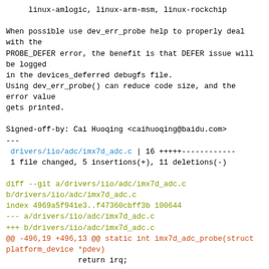linux-amlogic, linux-arm-msm, linux-rockchip
When possible use dev_err_probe help to properly deal with the
PROBE_DEFER error, the benefit is that DEFER issue will be logged
in the devices_deferred debugfs file.
Using dev_err_probe() can reduce code size, and the error value
gets printed.

Signed-off-by: Cai Huoqing <caihuoqing@baidu.com>
---
 drivers/iio/adc/imx7d_adc.c | 16 +++++-----------
 1 file changed, 5 insertions(+), 11 deletions(-)

diff --git a/drivers/iio/adc/imx7d_adc.c b/drivers/iio/adc/imx7d_adc.c
index 4969a5f941e3..f47360cbff3b 100644
--- a/drivers/iio/adc/imx7d_adc.c
+++ b/drivers/iio/adc/imx7d_adc.c
@@ -496,19 +496,13 @@ static int imx7d_adc_probe(struct platform_device *pdev)
                return irq;

         info->clk = devm_clk_get(dev, "adc");
-        if (IS_ERR(info->clk)) {
-                ret = PTR_ERR(info->clk);
-                dev_err(dev, "Failed getting clock, err = %d\n", ret);